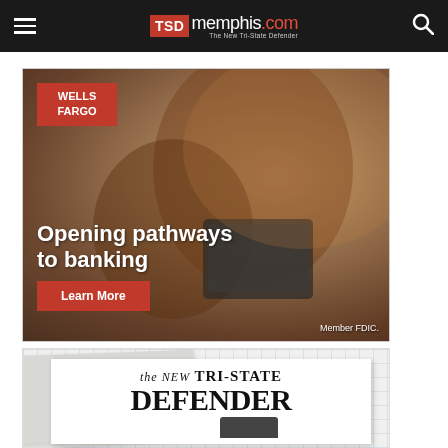TSD memphis.com — The New Tri-State Defender
[Figure (photo): Wells Fargo advertisement showing a mother and child looking at a tablet. Wells Fargo logo in red box top left. Text: 'Opening pathways to banking' with a red 'Learn More' button. 'Member FDIC.' bottom right.]
[Figure (photo): The New Tri-State Defender newspaper promotional image showing newspaper masthead on a grid background with stacked papers.]